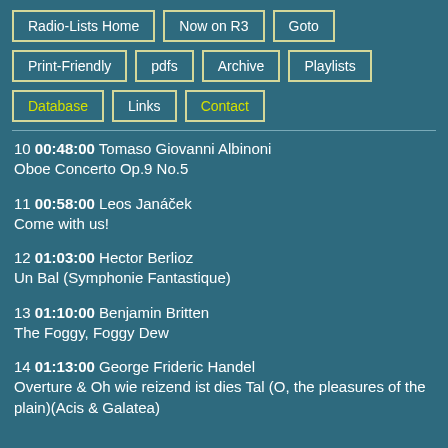Radio-Lists Home
Now on R3
Goto
Print-Friendly
pdfs
Archive
Playlists
Database
Links
Contact
10 00:48:00 Tomaso Giovanni Albinoni
Oboe Concerto Op.9 No.5
11 00:58:00 Leos Janáček
Come with us!
12 01:03:00 Hector Berlioz
Un Bal (Symphonie Fantastique)
13 01:10:00 Benjamin Britten
The Foggy, Foggy Dew
14 01:13:00 George Frideric Handel
Overture & Oh wie reizend ist dies Tal (O, the pleasures of the plain)(Acis & Galatea)